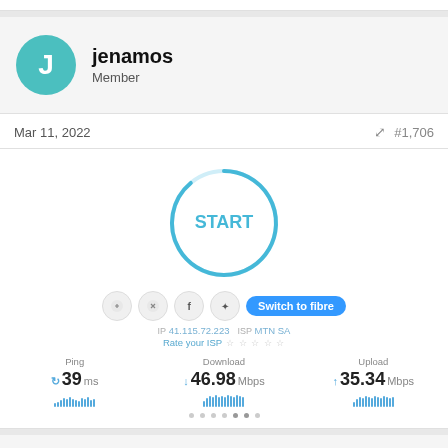jenamos
Member
Mar 11, 2022
#1,706
[Figure (screenshot): Speed test widget showing a circular START button with a teal ring. Below shows social sharing icons and a 'Switch to fibre' button. IP: 41.115.72.223 ISP: MTN SA. Ping: 39 ms, Download: 46.98 Mbps, Upload: 35.34 Mbps, with bar visualizations for each metric.]
Mbombok